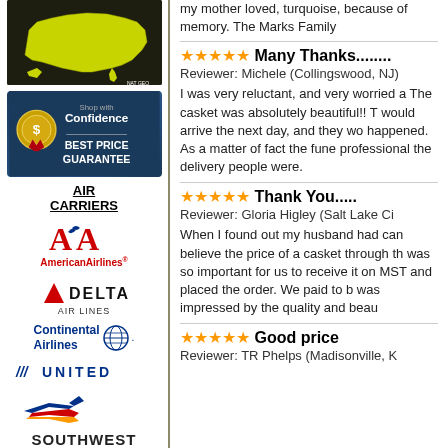[Figure (map): Map of the United States in yellow-green color on dark background with National Geographic logo]
[Figure (infographic): Shop with Confidence - Best Price Guarantee badge with gold ribbon seal on dark blue background]
AIR CARRIERS
[Figure (logo): American Airlines logo - AA letters in red with AmericanAirlines text]
[Figure (logo): Delta Air Lines logo with red triangle and bold DELTA text]
[Figure (logo): Continental Airlines logo with globe icon]
[Figure (logo): United Airlines logo in blue italic text]
[Figure (logo): Southwest Airlines logo with airplane graphic]
my mother loved, turquoise, because of memory. The Marks Family
Many Thanks........
Reviewer: Michele (Collingswood, NJ)
I was very reluctant, and very worried a The casket was absolutely beautiful!! T would arrive the next day, and they wo happened. As a matter of fact the fune professional the delivery people were.
Thank You.....
Reviewer: Gloria Higley (Salt Lake Ci
When I found out my husband had can believe the price of a casket through th was so important for us to receive it on MST and placed the order. We paid to was impressed by the quality and beau
Good price
Reviewer: TR Phelps (Madisonville, K